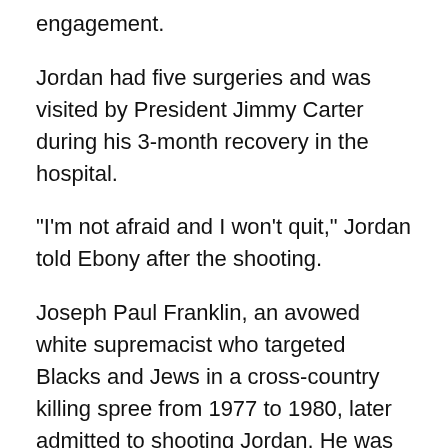engagement.
Jordan had five surgeries and was visited by President Jimmy Carter during his 3-month recovery in the hospital.
"I'm not afraid and I won't quit," Jordan told Ebony after the shooting.
Joseph Paul Franklin, an avowed white supremacist who targeted Blacks and Jews in a cross-country killing spree from 1977 to 1980, later admitted to shooting Jordan. He was never prosecuted in Jordan's case, but was put to death in 2013 for another slaying in Missouri.
Jordan left the organization in 1981, but said his departure was not related to the shooting.